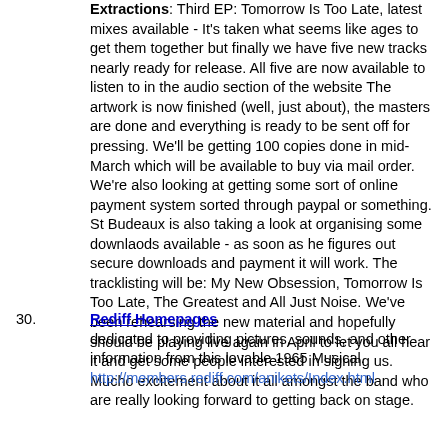Extractions: Third EP: Tomorrow Is Too Late, latest mixes available - It's taken what seems like ages to get them together but finally we have five new tracks nearly ready for release. All five are now available to listen to in the audio section of the website The artwork is now finished (well, just about), the masters are done and everything is ready to be sent off for pressing. We'll be getting 100 copies done in mid-March which will be available to buy via mail order. We're also looking at getting some sort of online payment system sorted through paypal or something. St Budeaux is also taking a look at organising some downlaods available - as soon as he figures out secure downloads and payment it will work. The tracklisting will be: My New Obsession, Tomorrow Is Too Late, The Greatest and All Just Noise. We've been rehearsing the new material and hopefully should be playing live again in April to let you all hear it and get some people interested in signing us. Mucho excitement about it all amongst the band who are really looking forward to getting back on stage.
30. Rediff Homepages dedicated to providing pictures, sounds, and other information from this lovable 1965 Musical. http://members.rediff.com/anikets/Index.html